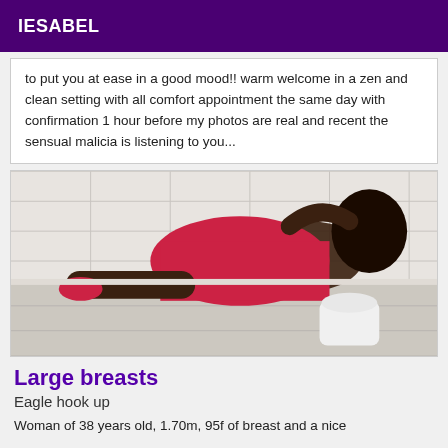IESABEL
to put you at ease in a good mood!! warm welcome in a zen and clean setting with all comfort appointment the same day with confirmation 1 hour before my photos are real and recent the sensual malicia is listening to you...
[Figure (photo): Woman in red dress posing in bathroom setting]
Large breasts
Eagle hook up
Woman of 38 years old, 1.70m, 95f of breast and a nice